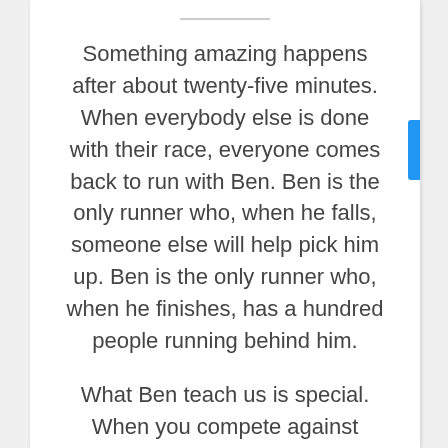Something amazing happens after about twenty-five minutes. When everybody else is done with their race, everyone comes back to run with Ben. Ben is the only runner who, when he falls, someone else will help pick him up. Ben is the only runner who, when he finishes, has a hundred people running behind him.
What Ben teach us is special. When you compete against everyone else, no one wants to help you. But when you compete against yourself, everyone